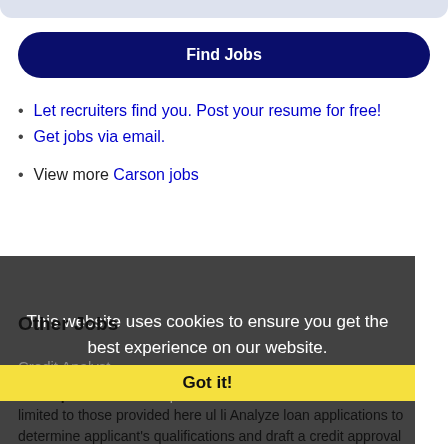Find Jobs
Let recruiters find you. Post your resume for free!
Get jobs via email.
View more Carson jobs
This website uses cookies to ensure you get the best experience on our website.
Learn more
Other Jobs
Got it!
Credit Analyst
Description: Job Description ESSENTIAL DUTIES Duties not limited to those provided here ul li Analyze loan applications to determine applicant's qualifications and draft a credit approval memorandum if warranted. (more...)